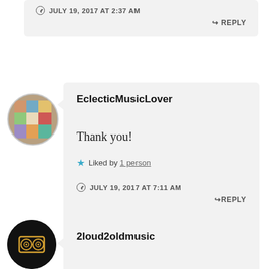JULY 19, 2017 AT 2:37 AM
REPLY
EclecticMusicLover
Thank you!
Liked by 1 person
JULY 19, 2017 AT 7:11 AM
REPLY
2loud2oldmusic